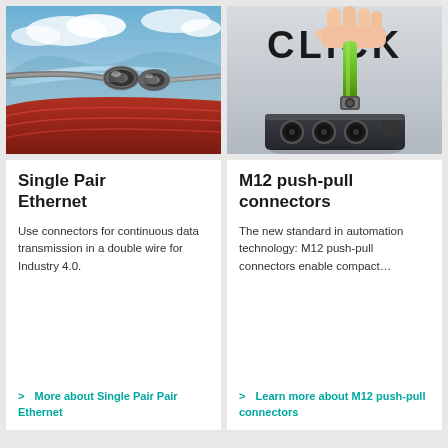[Figure (photo): Photo of Ethernet connectors with a stadium and motion-blur track background, showcasing high-speed cable connectors]
[Figure (photo): Photo showing a hand inserting a green M12 push-pull connector into a black connector block with text 'CLICK' above]
Single Pair Ethernet
Use connectors for continuous data transmission in a double wire for Industry 4.0.
>  More about Single Pair Ethernet
M12 push-pull connectors
The new standard in automation technology: M12 push-pull connectors enable compact…
>  Learn more about M12 push-pull connectors